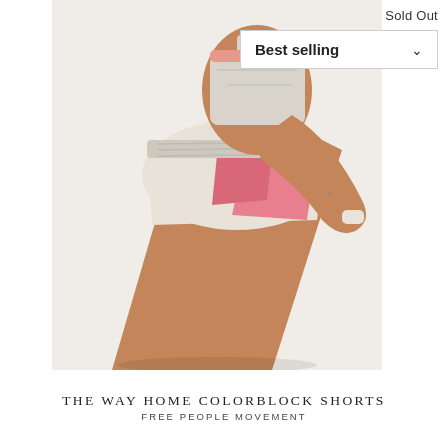Sold Out
Best selling
[Figure (photo): A woman in athletic wear — white/cream colorblock running shorts with pink panel and a gray/white sports bra — bending forward in a stretch pose against a white background.]
THE WAY HOME COLORBLOCK SHORTS
FREE PEOPLE MOVEMENT